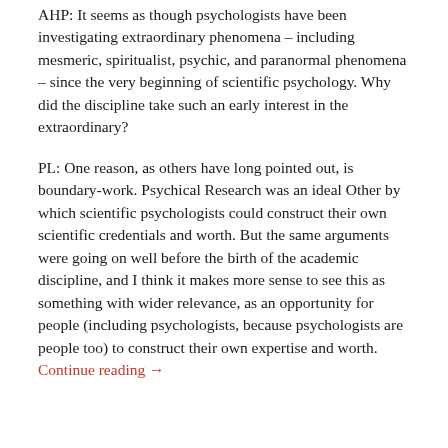AHP: It seems as though psychologists have been investigating extraordinary phenomena – including mesmeric, spiritualist, psychic, and paranormal phenomena – since the very beginning of scientific psychology. Why did the discipline take such an early interest in the extraordinary?
PL: One reason, as others have long pointed out, is boundary-work. Psychical Research was an ideal Other by which scientific psychologists could construct their own scientific credentials and worth. But the same arguments were going on well before the birth of the academic discipline, and I think it makes more sense to see this as something with wider relevance, as an opportunity for people (including psychologists, because psychologists are people too) to construct their own expertise and worth. Continue reading →